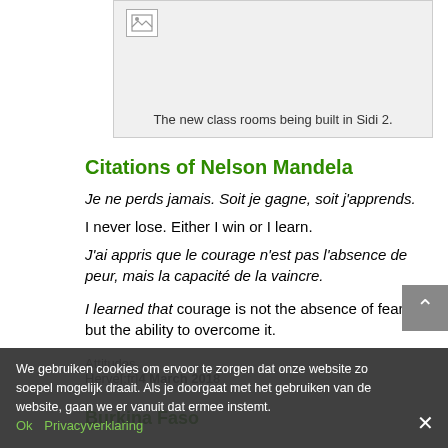[Figure (photo): Placeholder image icon in top-left corner of a gray box]
The new class rooms being built in Sidi 2.
Citations of Nelson Mandela
Je ne perds jamais. Soit je gagne, soit j'apprends.
I never lose. Either I win or I learn.
J'ai appris que le courage n'est pas l'absence de peur, mais la capacité de la vaincre.
I learned that courage is not the absence of fear, but the ability to overcome it.
Hervé[:fr]4 March 2018
Burkina Faso
We gebruiken cookies om ervoor te zorgen dat onze website zo soepel mogelijk draait. Als je doorgaat met het gebruiken van de website, gaan we er vanuit dat ermee instemt.